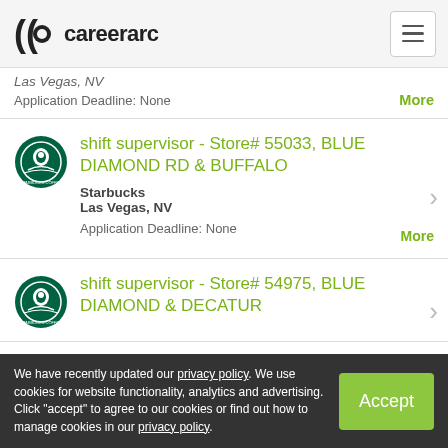careerarc
Las Vegas, NV
Application Deadline: None
shift supervisor - Store# 55033, BLUE DIAMOND RD & BUFFALO
Starbucks
Las Vegas, NV
Application Deadline: None
shift supervisor - Store# 54975, BLUE DIAMOND & DECATUR
We have recently updated our privacy policy. We use cookies for website functionality, analytics and advertising. Click "accept" to agree to our cookies or find out how to manage cookies in our privacy policy.